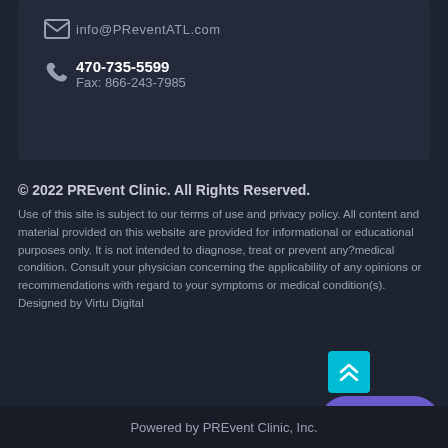info@PReventATL.com
470-735-5599
Fax: 866-243-7985
© 2022 PREvent Clinic. All Rights Reserved.
Use of this site is subject to our terms of use and privacy policy. All content and material provided on this website are provided for informational or educational purposes only. It is not intended to diagnose, treat or prevent any?medical condition. Consult your physician concerning the applicability of any opinions or recommendations with regard to your symptoms or medical condition(s). Designed by Virtu Digital
Powered by PREvent Clinic, Inc.